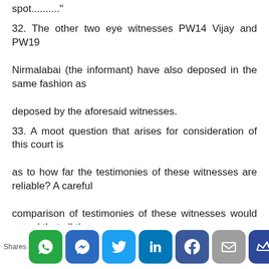spot.........."
32. The other two eye witnesses PW14 Vijay and PW19 Nirmalabai (the informant) have also deposed in the same fashion as deposed by the aforesaid witnesses.
33. A moot question that arises for consideration of this court is as to how far the testimonies of these witnesses are reliable? A careful comparison of testimonies of these witnesses would reveal that all these
Shares